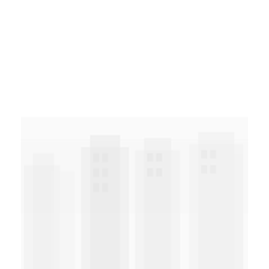[Figure (photo): A very faint, nearly white image occupying the lower portion of the page. The image appears to show some kind of cityscape or architectural scene with buildings, possibly with trees or vehicles in the foreground. The image is extremely low contrast, appearing almost entirely white against the white background.]